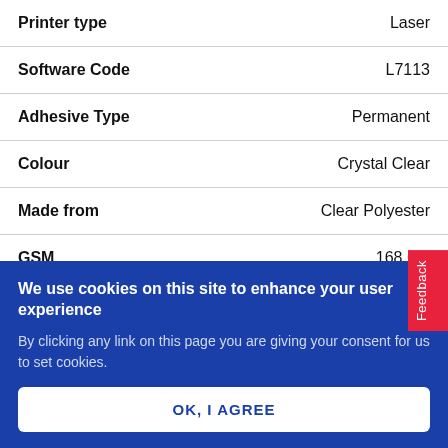| Property | Value |
| --- | --- |
| Printer type | Laser |
| Software Code | L7113 |
| Adhesive Type | Permanent |
| Colour | Crystal Clear |
| Made from | Clear Polyester |
| GSM | 168 GS... |
| Shape | Rectang... |
We use cookies on this site to enhance your user experience
By clicking any link on this page you are giving your consent for us to set cookies.
OK, I AGREE